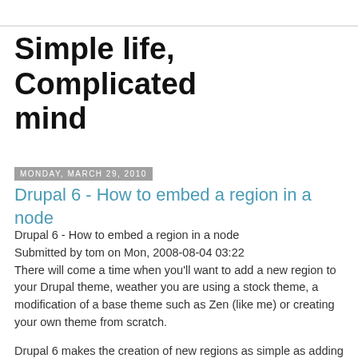Simple life, Complicated mind
Monday, March 29, 2010
Drupal 6 - How to embed a region in a node
Drupal 6 - How to embed a region in a node
Submitted by tom on Mon, 2008-08-04 03:22
There will come a time when you'll want to add a new region to your Drupal theme, weather you are using a stock theme, a modification of a base theme such as Zen (like me) or creating your own theme from scratch.
Drupal 6 makes the creation of new regions as simple as adding one line of code to your themes template.php file. However, by default new regions created in this manor will